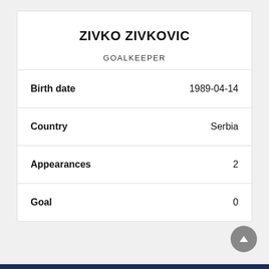ZIVKO ZIVKOVIC
GOALKEEPER
| Field | Value |
| --- | --- |
| Birth date | 1989-04-14 |
| Country | Serbia |
| Appearances | 2 |
| Goal | 0 |